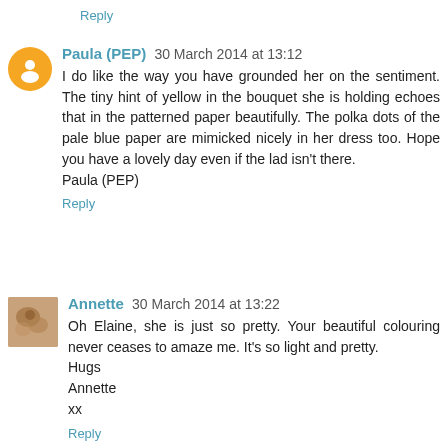Reply
Paula (PEP) 30 March 2014 at 13:12
I do like the way you have grounded her on the sentiment. The tiny hint of yellow in the bouquet she is holding echoes that in the patterned paper beautifully. The polka dots of the pale blue paper are mimicked nicely in her dress too. Hope you have a lovely day even if the lad isn't there.
Paula (PEP)
Reply
Annette 30 March 2014 at 13:22
Oh Elaine, she is just so pretty. Your beautiful colouring never ceases to amaze me. It's so light and pretty.
Hugs
Annette
xx
Reply